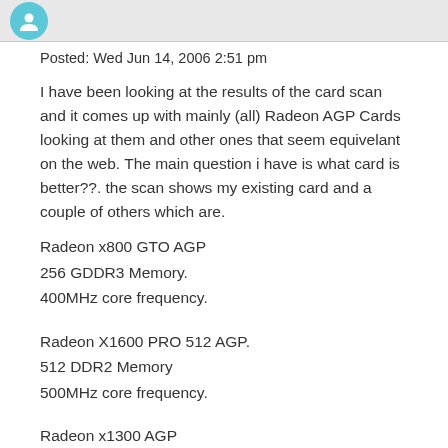[avatar icon]
Posted: Wed Jun 14, 2006 2:51 pm
I have been looking at the results of the card scan and it comes up with mainly (all) Radeon AGP Cards looking at them and other ones that seem equivelant on the web. The main question i have is what card is better??. the scan shows my existing card and a couple of others which are.
Radeon x800 GTO AGP
256 GDDR3 Memory.
400MHz core frequency.
Radeon X1600 PRO 512 AGP.
512 DDR2 Memory
500MHz core frequency.
Radeon x1300 AGP